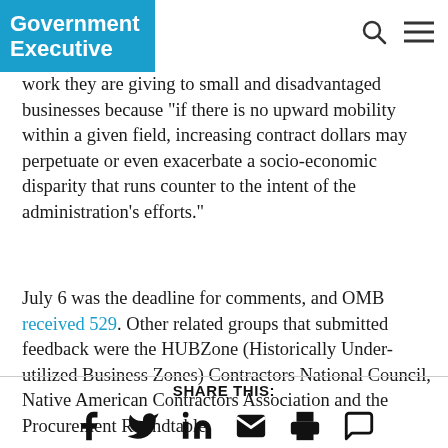Government Executive
work they are giving to small and disadvantaged businesses because “if there is no upward mobility within a given field, increasing contract dollars may perpetuate or even exacerbate a socio-economic disparity that runs counter to the intent of the administration’s efforts.”
July 6 was the deadline for comments, and OMB received 529. Other related groups that submitted feedback were the HUBZone (Historically Under-utilized Business Zones) Contractors National Council, Native American Contractors Association and the Procurement Roundtable.
SHARE THIS: